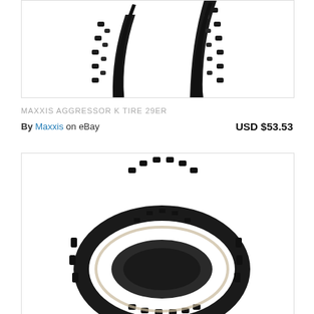[Figure (photo): Close-up top portion of a Maxxis Aggressor K mountain bike tire 29er, showing the knobbly black tread pattern against a white background, inside a bordered box.]
MAXXIS AGGRESSOR K TIRE  29ER
By Maxxis on eBay   USD $53.53
[Figure (photo): Photo of a full Maxxis mountain bike tire (folding/foldable) showing knobbly tread and casing, top portion visible inside a bordered box.]